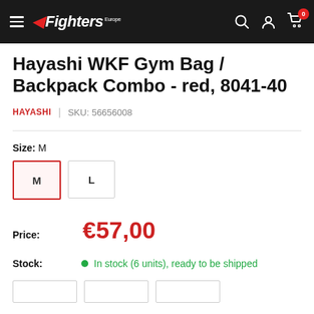Fighters Europe — navigation header with hamburger menu, logo, search, account, and cart icons
Hayashi WKF Gym Bag / Backpack Combo - red, 8041-40
HAYASHI | SKU: 56656008
Size: M
M  L
Price: €57,00
Stock: In stock (6 units), ready to be shipped